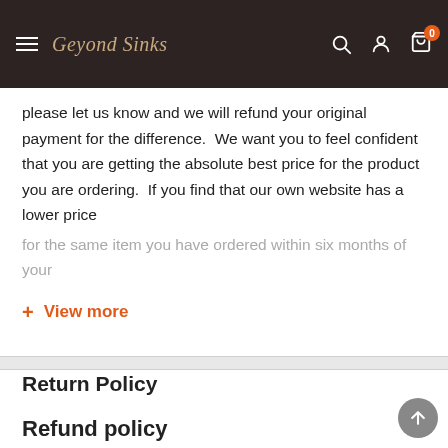Beyond Sinks — navigation header
please let us know and we will refund your original payment for the difference.  We want you to feel confident that you are getting the absolute best price for the product you are ordering.  If you find that our own website has a lower price for the same item you have ordered within six months of your
+ View more
Return Policy
Refund policy